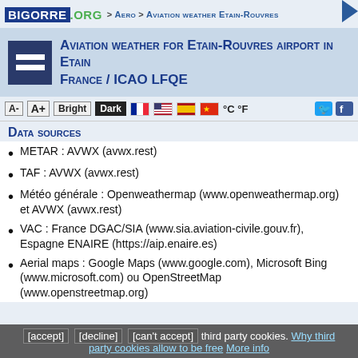BIGORRE .ORG > Aero > Aviation weather Etain-Rouvres
Aviation weather for Etain-Rouvres airport in Etain France / ICAO LFQE
Data sources
METAR : AVWX (avwx.rest)
TAF : AVWX (avwx.rest)
Météo générale : Openweathermap (www.openweathermap.org) et AVWX (avwx.rest)
VAC : France DGAC/SIA (www.sia.aviation-civile.gouv.fr), Espagne ENAIRE (https://aip.enaire.es)
Aerial maps : Google Maps (www.google.com), Microsoft Bing (www.microsoft.com) ou OpenStreetMap (www.openstreetmap.org)
[accept] [decline] [can't accept] third party cookies. Why third party cookies allow to be free More info